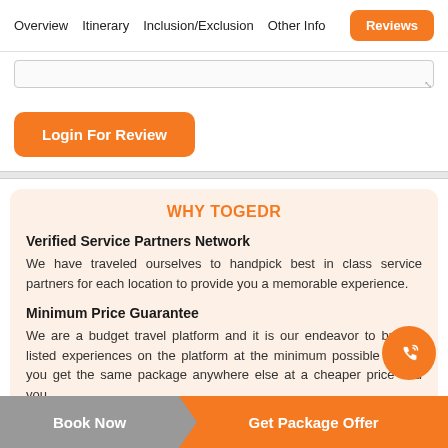Overview   Itinerary   Inclusion/Exclusion   Other Info   Reviews
Login For Review
WHY TOGEDR
Verified Service Partners Network
We have traveled ourselves to handpick best in class service partners for each location to provide you a memorable experience.
Minimum Price Guarantee
We are a budget travel platform and it is our endeavor to bring all listed experiences on the platform at the minimum possible cost. If you get the same package anywhere else at a cheaper price and you
Book Now   Get Package Offer